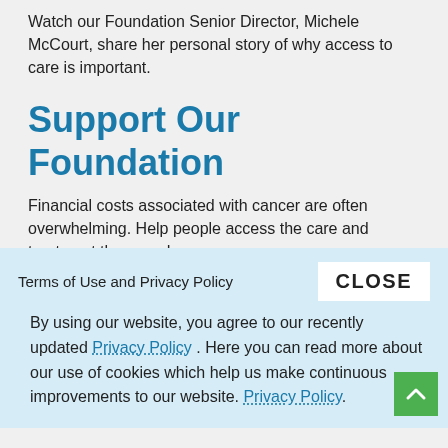Watch our Foundation Senior Director, Michele McCourt, share her personal story of why access to care is important.
Support Our Foundation
Financial costs associated with cancer are often overwhelming. Help people access the care and treatment they need.
DONATE TO OUR FOUNDATION
Terms of Use and Privacy Policy
CLOSE
By using our website, you agree to our recently updated Privacy Policy . Here you can read more about our use of cookies which help us make continuous improvements to our website. Privacy Policy.